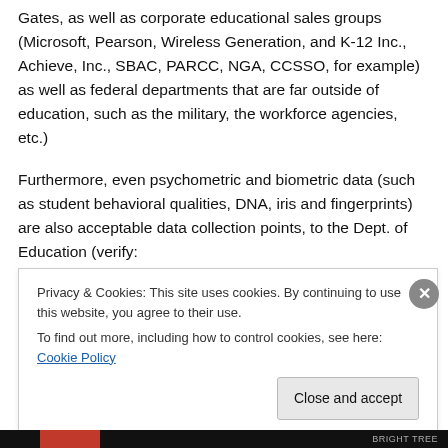Gates, as well as corporate educational sales groups (Microsoft, Pearson, Wireless Generation, and K-12 Inc., Achieve, Inc., SBAC, PARCC, NGA, CCSSO, for example) as well as federal departments that are far outside of education, such as the military, the workforce agencies, etc.)
Furthermore, even psychometric and biometric data (such as student behavioral qualities, DNA, iris and fingerprints) are also acceptable data collection points, to the Dept. of Education (verify:
Privacy & Cookies: This site uses cookies. By continuing to use this website, you agree to their use.
To find out more, including how to control cookies, see here: Cookie Policy